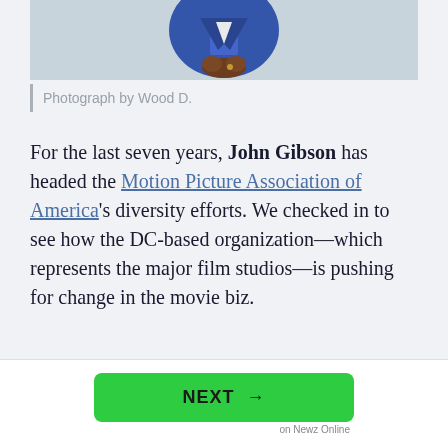[Figure (photo): Partial photo of a man in a blue suit with hands clasped, cropped to show torso only against a light background]
Photograph by Wood D.
For the last seven years, John Gibson has headed the Motion Picture Association of America's diversity efforts. We checked in to see how the DC-based organization—which represents the major film studios—is pushing for change in the movie biz.
How did the MPAA start its diversity program?
[Figure (other): NEXT → button in green with 'on Newz Online' label below]